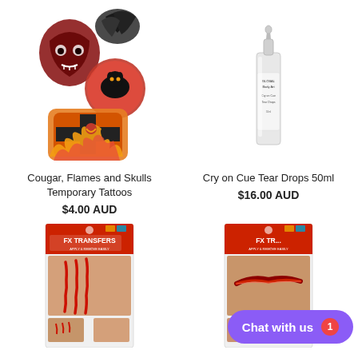[Figure (photo): Cougar, Flames and Skulls Temporary Tattoos product image showing multiple tattoo designs including skull, cougar, and flaming cross motifs]
Cougar, Flames and Skulls Temporary Tattoos
$4.00 AUD
[Figure (photo): Cry on Cue Tear Drops 50ml - small white dropper bottle by Global Body Art]
Cry on Cue Tear Drops 50ml
$16.00 AUD
[Figure (photo): FX Transfers product - Halloween special effects transfer showing claw scratch wounds on skin]
[Figure (photo): FX Transfers product - Halloween special effects transfer showing wound/scar on skin, partially obscured by Chat widget]